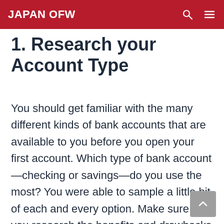JAPAN OFW
1. Research your Account Type
You should get familiar with the many different kinds of bank accounts that are available to you before you open your first account. Which type of bank account—checking or savings—do you use the most? You were able to sample a little bit of each and every option. Make sure that you research the benefits and drawbacks of the other